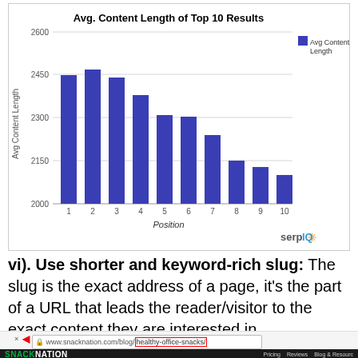[Figure (bar-chart): Avg. Content Length of Top 10 Results]
vi). Use shorter and keyword-rich slug: The slug is the exact address of a page, it's the part of a URL that leads the reader/visitor to the exact content they are interested in.
[Figure (screenshot): Browser screenshot showing www.snacknation.com/blog/healthy-office-snacks/ in address bar with 'healthy-office-snacks/' highlighted in red box and an arrow pointing to label 'Slug']